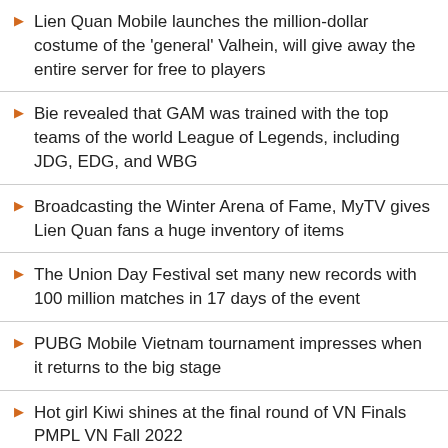Lien Quan Mobile launches the million-dollar costume of the 'general' Valhein, will give away the entire server for free to players
Bie revealed that GAM was trained with the top teams of the world League of Legends, including JDG, EDG, and WBG
Broadcasting the Winter Arena of Fame, MyTV gives Lien Quan fans a huge inventory of items
The Union Day Festival set many new records with 100 million matches in 17 days of the event
PUBG Mobile Vietnam tournament impresses when it returns to the big stage
Hot girl Kiwi shines at the final round of VN Finals PMPL VN Fall 2022
Gathering the hottest Vietnamese eFootball players